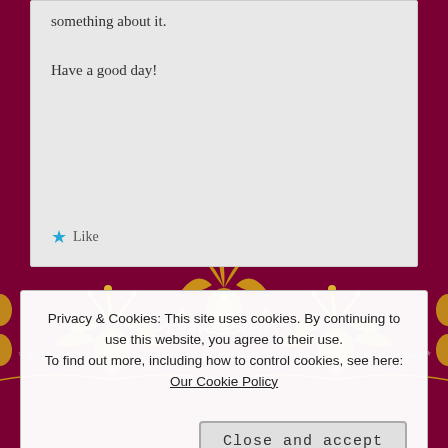something about it.

Have a good day!
★ Like
[Figure (illustration): Ornamental dark red/maroon and gold decorative pattern background with intricate floral and heart motifs in a repeating tile design]
Leave a Reply
* Your email address will not be published. Required fields are marked *
Privacy & Cookies: This site uses cookies. By continuing to use this website, you agree to their use.
To find out more, including how to control cookies, see here: Our Cookie Policy
Close and accept